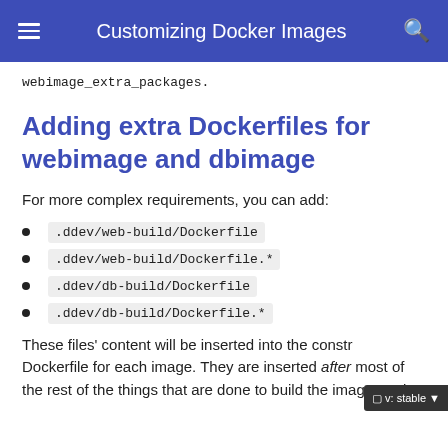Customizing Docker Images
webimage_extra_packages.
Adding extra Dockerfiles for webimage and dbimage
For more complex requirements, you can add:
.ddev/web-build/Dockerfile
.ddev/web-build/Dockerfile.*
.ddev/db-build/Dockerfile
.ddev/db-build/Dockerfile.*
These files' content will be inserted into the constructed Dockerfile for each image. They are inserted after most of the rest of the things that are done to build the image, and